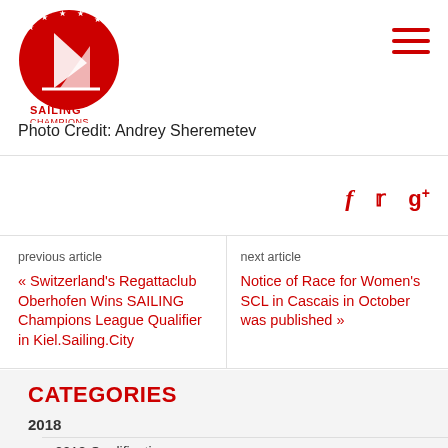[Figure (logo): Sailing Champions League logo — red circular emblem with stylized sail and stars, text SAILING LEAGUE below]
Photo Credit: Andrey Sheremetev
f  ✓  g+
previous article
« Switzerland's Regattaclub Oberhofen Wins SAILING Champions League Qualifier in Kiel.Sailing.City
next article
Notice of Race for Women's SCL in Cascais in October was published »
CATEGORIES
2018
> 2018 Qualification
> Final 2018 St. Moritz